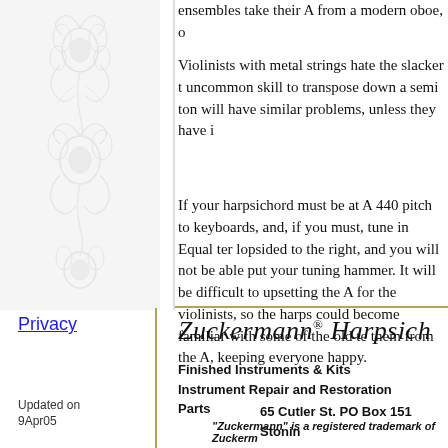ensembles take their A from a modern oboe, o
Violinists with metal strings hate the slacker t uncommon skill to transpose down a semi ton will have similar problems, unless they have i
If your harpsichord must be at A 440 pitch to keyboards, and, if you must, tune in Equal ter lopsided to the right, and you will not be able put your tuning hammer. It will be difficult to upsetting the A for the violinists, so the harps could become familiar with some of the old te them from the A, keeping everyone happy.
Privacy
Updated on 9Apr05
[Figure (illustration): Decorative floral/scrollwork ornamental pattern on left sidebar]
Zuckermann® Harpsichord
Finished Instruments & Kits
Instrument Repair and Restoration
Parts
65 Cutler St. PO Box 151  Stonin
"Zuckermann" is a registered trademark of Zuckerm